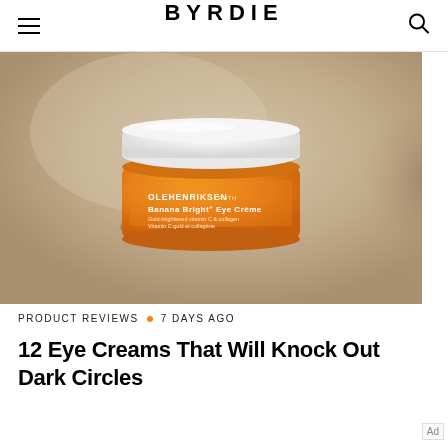BYRDIE
[Figure (photo): Orange jar of OLEHENRIKSEN TRUTH Banana Bright+ Eye Crème with white lid, photographed on beige/tan background with soft shadow lighting]
PRODUCT REVIEWS • 7 DAYS AGO
12 Eye Creams That Will Knock Out Dark Circles